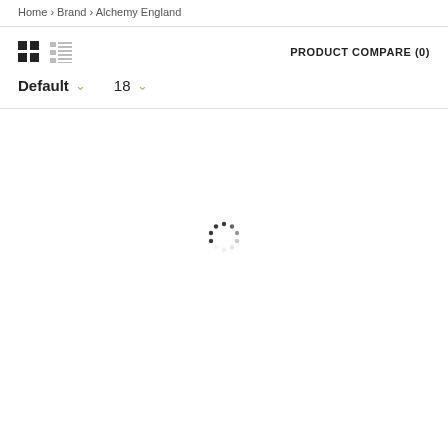Home › Brand › Alchemy England
PRODUCT COMPARE (0)
Default  ∨   18  ∨
[Figure (other): Loading spinner with dots arranged in a circle]